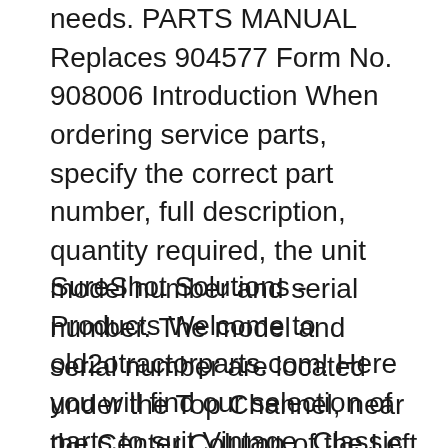needs. PARTS MANUAL Replaces 904577 Form No. 908006 Introduction When ordering service parts, specify the correct part number, full description, quantity required, the unit model number and serial number. The model and serial number are located under the Top Channel, near the Center Column of the Left Frame Assembly. вЂњRightвЂќ and вЂњLeftвЂќ are determined from a position standing at the rear of
SureShot Solutions - Products Welcome to old2otractorparts.com! Here you will find our selection of parts to suit Vintage, Classic and Modern tractors as well as parts to suit farm machinery. Based in Shardlow, near Derby, we have been supplying quality tractor parts to the consumer and trade of over 24 years! Specialists